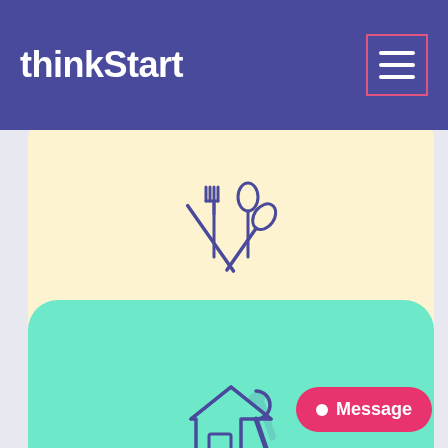thinkStart
[Figure (illustration): Restaurant Service card with crossed fork and spoon icon on cream/yellow background, rounded corners]
Restaurant Service
[Figure (illustration): Home Services card with house and wrench icon on teal/mint background, rounded corners]
Home Services
Message